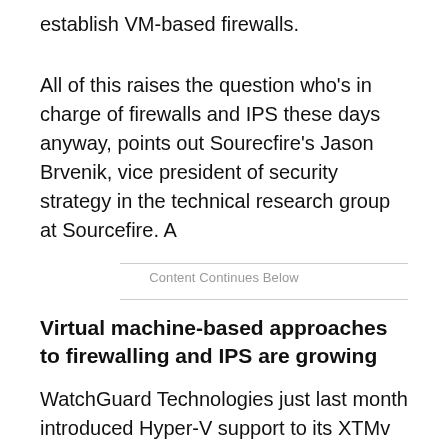establish VM-based firewalls.
All of this raises the question who's in charge of firewalls and IPS these days anyway, points out Sourecfire's Jason Brvenik, vice president of security strategy in the technical research group at Sourcefire. A
Content Continues Below
Virtual machine-based approaches to firewalling and IPS are growing
WatchGuard Technologies just last month introduced Hyper-V support to its XTMv unified